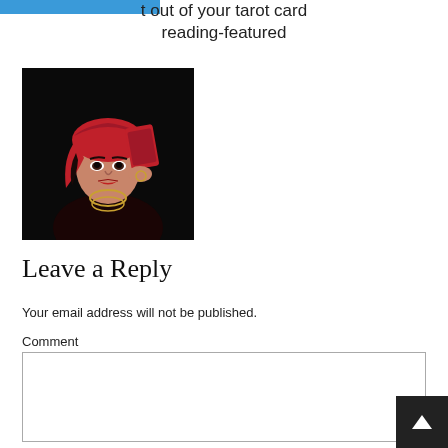t out of your tarot card reading-featured
[Figure (photo): Woman wearing red head wrap holding red tarot cards against dark background]
Leave a Reply
Your email address will not be published.
Comment
[Figure (screenshot): Comment text area input box]